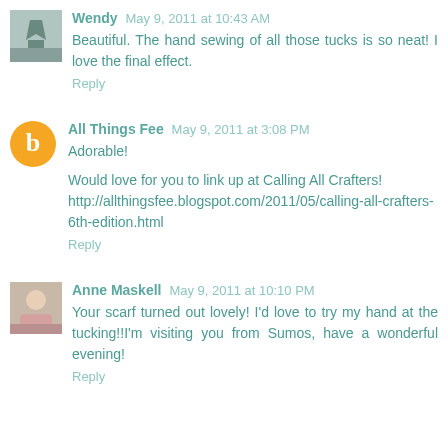Wendy  May 9, 2011 at 10:43 AM
Beautiful. The hand sewing of all those tucks is so neat! I love the final effect.
Reply
All Things Fee  May 9, 2011 at 3:08 PM
Adorable!
Would love for you to link up at Calling All Crafters! http://allthingsfee.blogspot.com/2011/05/calling-all-crafters-6th-edition.html
Reply
Anne Maskell  May 9, 2011 at 10:10 PM
Your scarf turned out lovely! I'd love to try my hand at the tucking!!I'm visiting you from Sumos, have a wonderful evening!
Reply